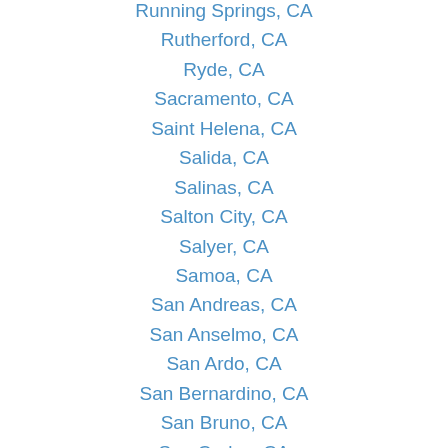Running Springs, CA
Rutherford, CA
Ryde, CA
Sacramento, CA
Saint Helena, CA
Salida, CA
Salinas, CA
Salton City, CA
Salyer, CA
Samoa, CA
San Andreas, CA
San Anselmo, CA
San Ardo, CA
San Bernardino, CA
San Bruno, CA
San Carlos, CA
San Clemente, CA
San Diego, CA